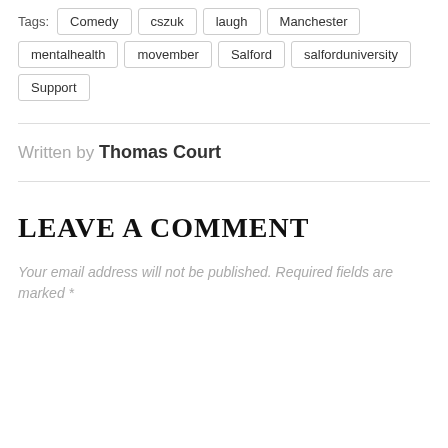Tags: Comedy  cszuk  laugh  Manchester  mentalhealth  movember  Salford  salforduniversity  Support
Written by Thomas Court
LEAVE A COMMENT
Your email address will not be published. Required fields are marked *